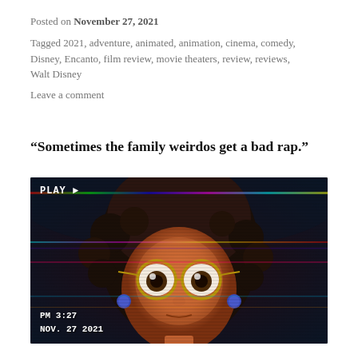Posted on November 27, 2021
Tagged 2021, adventure, animated, animation, cinema, comedy, Disney, Encanto, film review, movie theaters, review, reviews, Walt Disney
Leave a comment
“Sometimes the family weirdos get a bad rap.”
[Figure (screenshot): Video thumbnail showing an animated character from Encanto (Mirabel) with large round gold-rimmed glasses and curly hair, with VHS-style overlay showing PLAY button and timestamp PM 3:27 NOV. 27 2021]